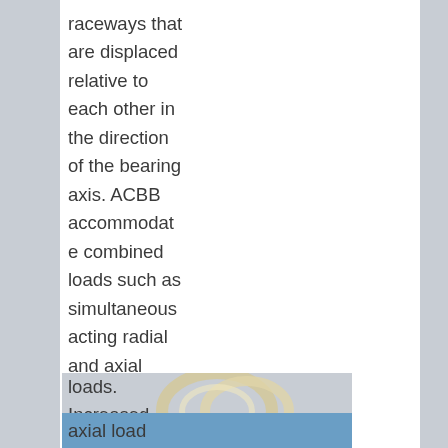raceways that are displaced relative to each other in the direction of the bearing axis. ACBB accommodate combined loads such as simultaneous acting radial and axial loads. Increased contact angle results in enhanced axial load
[Figure (photo): A photograph of angular contact ball bearings (ACBB) showing metallic rings/races, overlaid with text about bearing properties.]